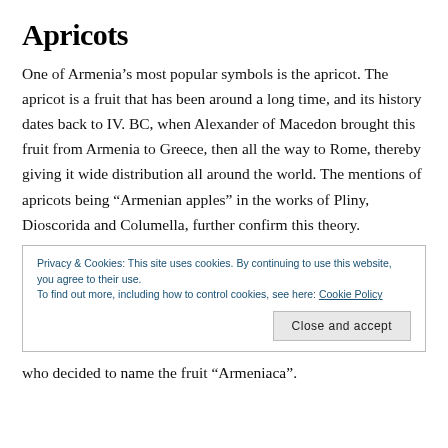Apricots
One of Armenia’s most popular symbols is the apricot. The apricot is a fruit that has been around a long time, and its history dates back to IV. BC, when Alexander of Macedon brought this fruit from Armenia to Greece, then all the way to Rome, thereby giving it wide distribution all around the world. The mentions of apricots being “Armenian apples” in the works of Pliny, Dioscorida and Columella, further confirm this theory.
Privacy & Cookies: This site uses cookies. By continuing to use this website, you agree to their use.
To find out more, including how to control cookies, see here: Cookie Policy
who decided to name the fruit “Armeniaca”.